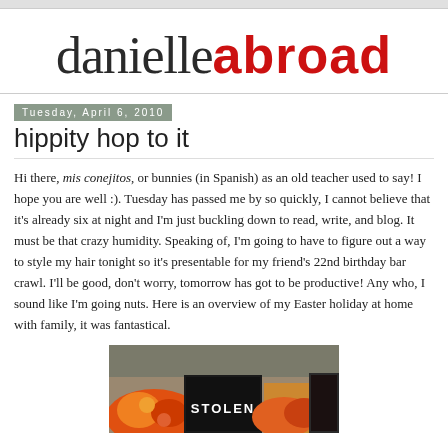danielle abroad
Tuesday, April 6, 2010
hippity hop to it
Hi there, mis conejitos, or bunnies (in Spanish) as an old teacher used to say! I hope you are well :). Tuesday has passed me by so quickly, I cannot believe that it's already six at night and I'm just buckling down to read, write, and blog. It must be that crazy humidity. Speaking of, I'm going to have to figure out a way to style my hair tonight so it's presentable for my friend's 22nd birthday bar crawl. I'll be good, don't worry, tomorrow has got to be productive! Any who, I sound like I'm going nuts. Here is an overview of my Easter holiday at home with family, it was fantastical.
[Figure (photo): Photo of colorful floral items and a book titled STOLEN on a table]